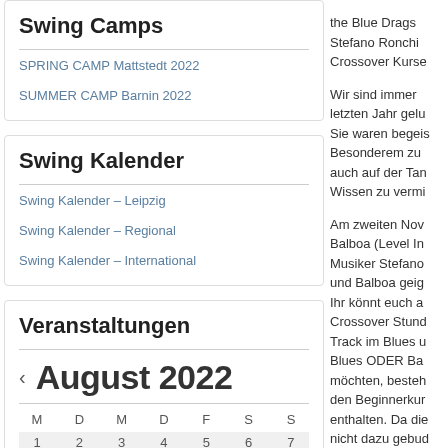Swing Camps
SPRING CAMP Mattstedt 2022
SUMMER CAMP Barnin 2022
Swing Kalender
Swing Kalender – Leipzig
Swing Kalender – Regional
Swing Kalender – International
Veranstaltungen
< August 2022
| M | D | M | D | F | S | S |
| --- | --- | --- | --- | --- | --- | --- |
| 1 | 2 | 3 | 4 | 5 | 6 | 7 |
the Blue Drags Stefano Ronchi Crossover Kurse

Wir sind immer letzten Jahr gelu Sie waren begeis Besonderem zu auch auf der Tan Wissen zu vermi

Am zweiten Nov Balboa (Level In Musiker Stefano und Balboa geig Ihr könnt euch a Crossover Stund Track im Blues u Blues ODER Ba möchten, besteh den Beginnerkur enthalten. Da die nicht dazu gebud was jo nach Ka